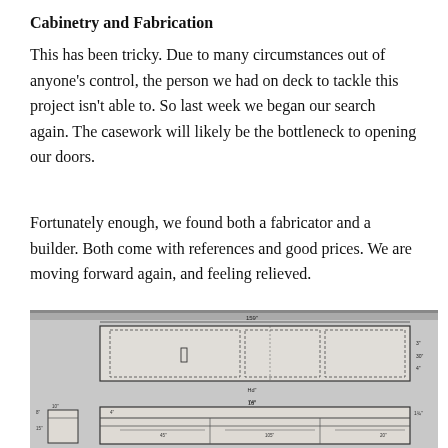Cabinetry and Fabrication
This has been tricky. Due to many circumstances out of anyone's control, the person we had on deck to tackle this project isn't able to. So last week we began our search again. The casework will likely be the bottleneck to opening our doors.
Fortunately enough, we found both a fabricator and a builder. Both come with references and good prices. We are moving forward again, and feeling relieved.
[Figure (engineering-diagram): Hand-drawn cabinetry fabrication schematic showing top elevation view with dashed lines indicating cabinet sections, door panels, and dimension annotations, plus a lower section showing side elevation and front elevation views with dimension markings.]